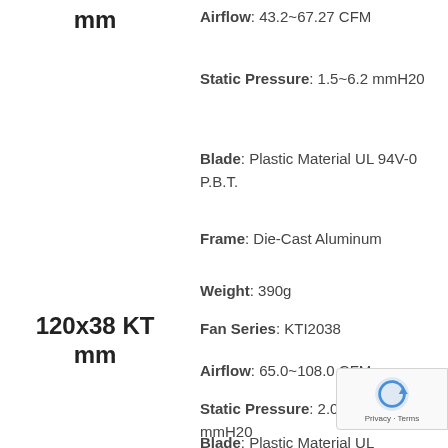mm
Airflow: 43.2~67.27 CFM
Static Pressure: 1.5~6.2 mmH20
Blade: Plastic Material UL 94V-0 P.B.T.
Frame: Die-Cast Aluminum
Weight: 390g
120x38 KT mm
Fan Series: KTI2038
Airflow: 65.0~108.0 CFM
Static Pressure: 2.04~8.80 mmH20
Blade: Plastic Material UL